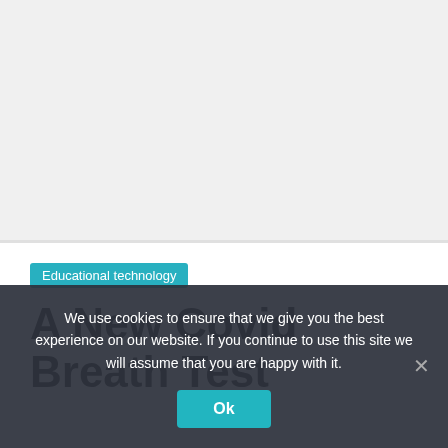[Figure (other): Top area of webpage, blank/light gray background area representing page content above the fold]
Educational technology
A New Covid Breath Test
We use cookies to ensure that we give you the best experience on our website. If you continue to use this site we will assume that you are happy with it.
Ok